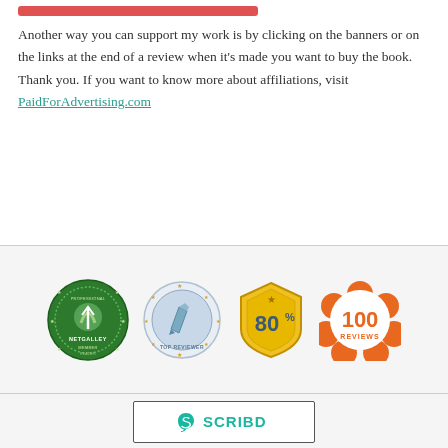Another way you can support my work is by clicking on the banners or on the links at the end of a review when it's made you want to buy the book. Thank you. If you want to know more about affiliations, visit PaidForAdvertising.com
[Figure (logo): Four badges in a row: NetGalley Member Professional Reader circular badge (green), Top Reviewer circular badge (blue/silver with stars), 80% shield badge (gold), 100 Reviews flower badge (orange)]
[Figure (logo): Scribd logo inside a rectangular border — teal S icon and SCRIBD text]